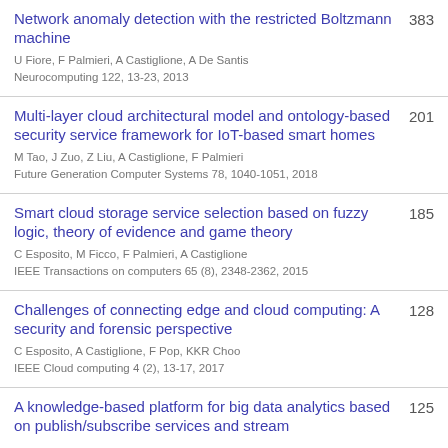Network anomaly detection with the restricted Boltzmann machine | U Fiore, F Palmieri, A Castiglione, A De Santis | Neurocomputing 122, 13-23, 2013 | 383
Multi-layer cloud architectural model and ontology-based security service framework for IoT-based smart homes | M Tao, J Zuo, Z Liu, A Castiglione, F Palmieri | Future Generation Computer Systems 78, 1040-1051, 2018 | 201
Smart cloud storage service selection based on fuzzy logic, theory of evidence and game theory | C Esposito, M Ficco, F Palmieri, A Castiglione | IEEE Transactions on computers 65 (8), 2348-2362, 2015 | 185
Challenges of connecting edge and cloud computing: A security and forensic perspective | C Esposito, A Castiglione, F Pop, KKR Choo | IEEE Cloud computing 4 (2), 13-17, 2017 | 128
A knowledge-based platform for big data analytics based on publish/subscribe services and stream processing | 125